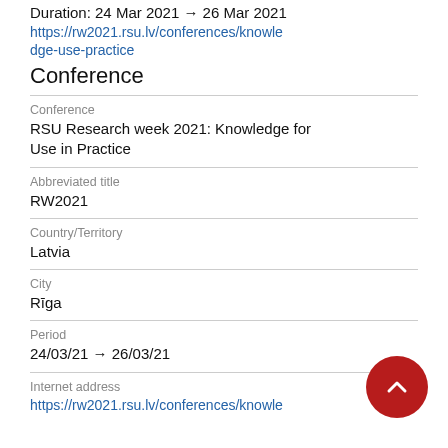Duration: 24 Mar 2021 → 26 Mar 2021
https://rw2021.rsu.lv/conferences/knowledge-use-practice
Conference
Conference
RSU Research week 2021: Knowledge for Use in Practice
Abbreviated title
RW2021
Country/Territory
Latvia
City
Rīga
Period
24/03/21 → 26/03/21
Internet address
https://rw2021.rsu.lv/conferences/knowle